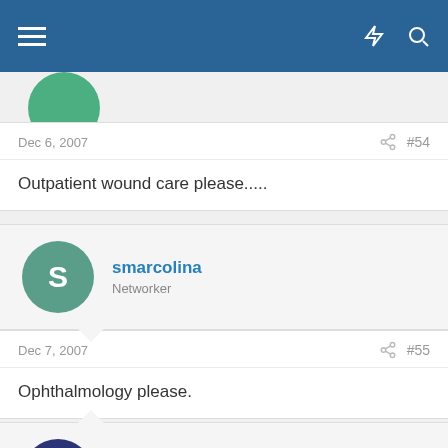Navigation bar with menu, lightning, and search icons
Dec 6, 2007  #54
Outpatient wound care please.....
smarcolina  Networker
Dec 7, 2007  #55
Ophthalmology please.
AKAJBART  Networker
Dec 18, 2007  #56
Specialty Forums